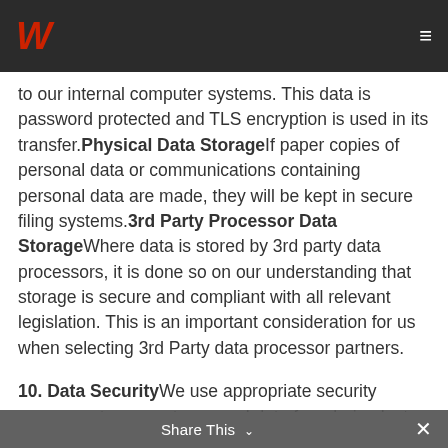W (logo) — navigation header
to our internal computer systems. This data is password protected and TLS encryption is used in its transfer. Physical Data Storage If paper copies of personal data or communications containing personal data are made, they will be kept in secure filing systems. 3rd Party Processor Data Storage Where data is stored by 3rd party data processors, it is done so on our understanding that storage is secure and compliant with all relevant legislation. This is an important consideration for us when selecting 3rd Party data processor partners.
10. Data Security We use appropriate security measures to prevent personal data from being lost, used or accessed in an unauthorised way. We limit access to personal data to those employees, agents, contractors and other third parties who have a business need to know. They only process your personal data on our instructions and they are subject
Share This ✓ ✕